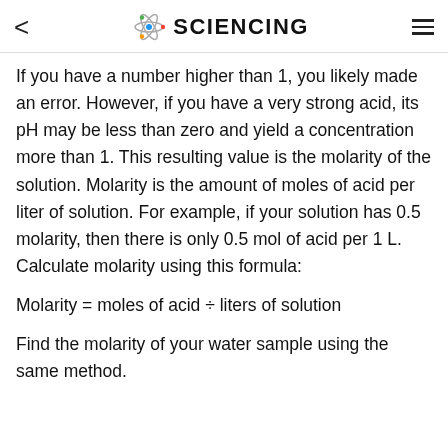< SCIENCING ≡
If you have a number higher than 1, you likely made an error. However, if you have a very strong acid, its pH may be less than zero and yield a concentration more than 1. This resulting value is the molarity of the solution. Molarity is the amount of moles of acid per liter of solution. For example, if your solution has 0.5 molarity, then there is only 0.5 mol of acid per 1 L. Calculate molarity using this formula:
Find the molarity of your water sample using the same method.